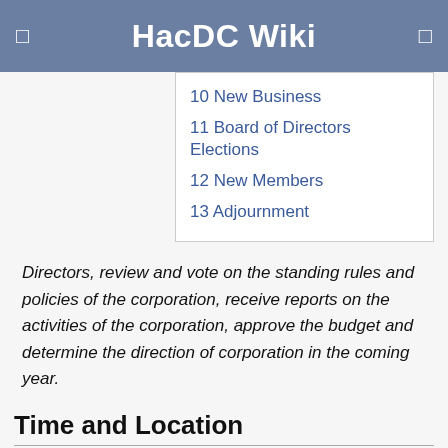HacDC Wiki
10 New Business
11 Board of Directors Elections
12 New Members
13 Adjournment
Directors, review and vote on the standing rules and policies of the corporation, receive reports on the activities of the corporation, approve the budget and determine the direction of corporation in the coming year.
Time and Location
Date: 2018.13.10 (March 10, 2018)
Location: HacDC
Meeting called to order at